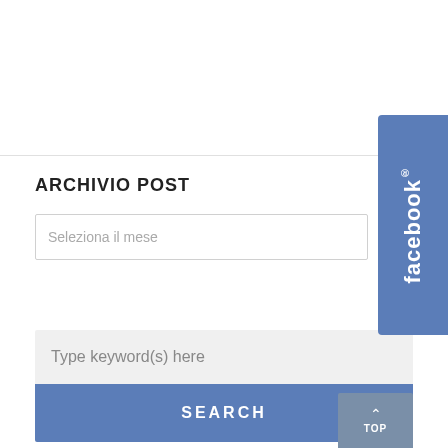[Figure (logo): Facebook tab/button on the right side, blue background with white 'facebook' text written vertically]
ARCHIVIO POST
Seleziona il mese
Type keyword(s) here
SEARCH
TOP